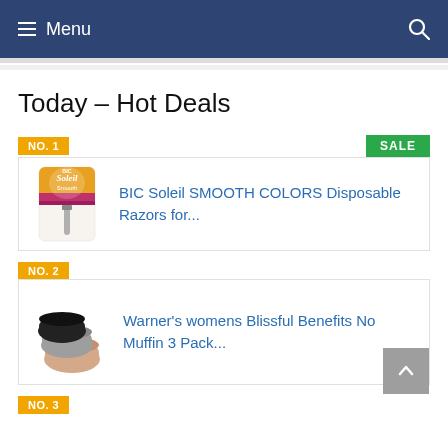≡ Menu
Today – Hot Deals
NO. 1
SALE
[Figure (photo): BIC Soleil SMOOTH COLORS Disposable Razors product image]
BIC Soleil SMOOTH COLORS Disposable Razors for...
NO. 2
[Figure (photo): Warner's womens Blissful Benefits No Muffin 3 Pack product image showing black, grey and nude underwear]
Warner's womens Blissful Benefits No Muffin 3 Pack...
NO. 3